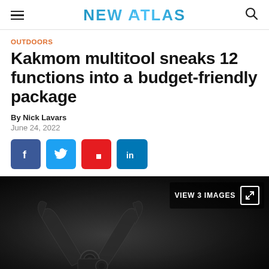NEW ATLAS
OUTDOORS
Kakmom multitool sneaks 12 functions into a budget-friendly package
By Nick Lavars
June 24, 2022
[Figure (infographic): Social sharing buttons: Facebook (blue), Twitter (blue), Flipboard (red), LinkedIn (blue)]
[Figure (photo): Close-up dark photo of a multitool/pliers on a dark background, with VIEW 3 IMAGES overlay button in top right corner]